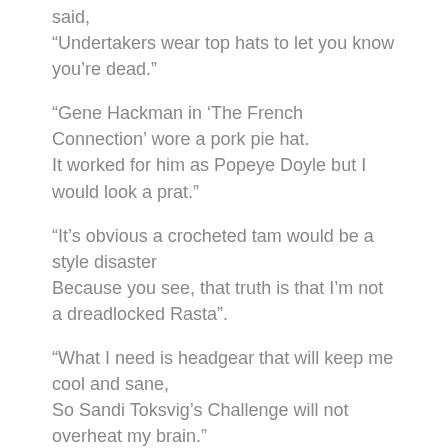said,
“Undertakers wear top hats to let you know you’re dead.”
“Gene Hackman in ‘The French Connection’ wore a pork pie hat.
It worked for him as Popeye Doyle but I would look a prat.”
“It’s obvious a crocheted tam would be a style disaster
Because you see, that truth is that I’m not a dreadlocked Rasta”.
“What I need is headgear that will keep me cool and sane,
So Sandi Toksvig’s Challenge will not overheat my brain.”
Tradition sound and British as a tin of bully beef
Guided hand to pocket and thence to his handkerchief